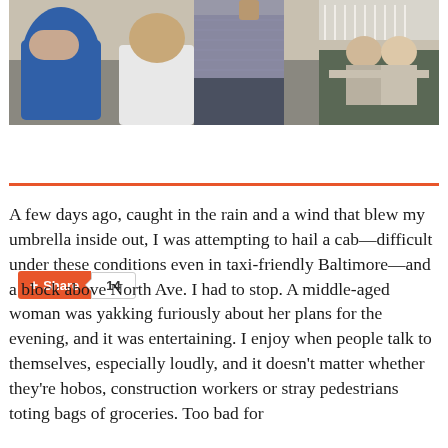[Figure (photo): Outdoor photo showing people at what appears to be a street scene or patio area. A person in a gray mesh/knit top and dark shorts is visible in the center foreground. Other people are seated at tables in the background.]
Share  14
A few days ago, caught in the rain and a wind that blew my umbrella inside out, I was attempting to hail a cab—difficult under these conditions even in taxi-friendly Baltimore—and a block above North Ave. I had to stop. A middle-aged woman was yakking furiously about her plans for the evening, and it was entertaining. I enjoy when people talk to themselves, especially loudly, and it doesn't matter whether they're hobos, construction workers or stray pedestrians toting bags of groceries. Too bad for